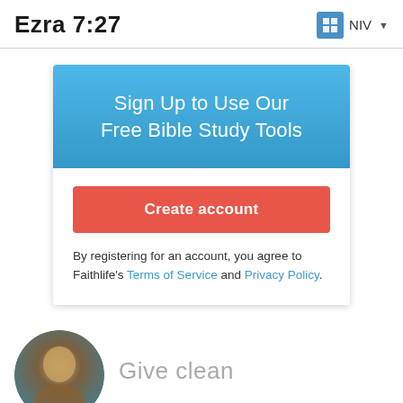Ezra 7:27  NIV
Sign Up to Use Our Free Bible Study Tools
Create account
By registering for an account, you agree to Faithlife’s Terms of Service and Privacy Policy.
Give clean